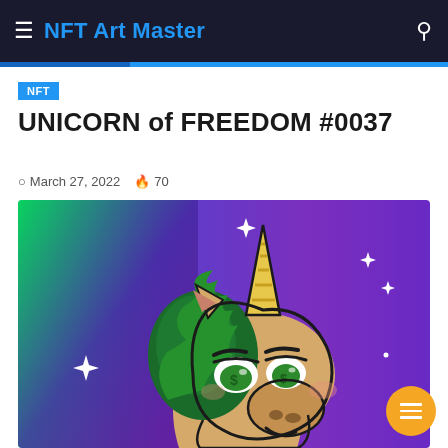NFT Art Master
NFT
UNICORN of FREEDOM #0037
March 27, 2022  🔥 70
[Figure (illustration): A cartoon unicorn with green mane, gold striped horn, and dollar-sign eyes set against a gradient background transitioning from green (left) to purple (right) with white sparkle stars. The unicorn has an aggressive/smug expression.]